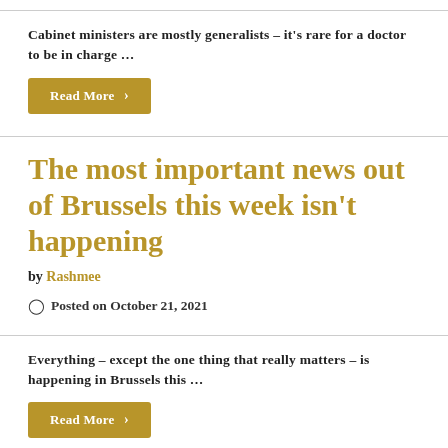Cabinet ministers are mostly generalists – it's rare for a doctor to be in charge …
Read More ›
The most important news out of Brussels this week isn't happening
by Rashmee
Posted on October 21, 2021
Everything – except the one thing that really matters – is happening in Brussels this …
Read More ›